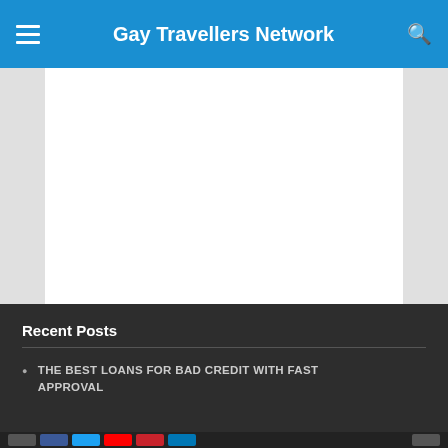Gay Travellers Network
[Figure (other): White content area / blank advertisement space on light grey background]
Recent Posts
THE BEST LOANS FOR BAD CREDIT WITH FAST APPROVAL